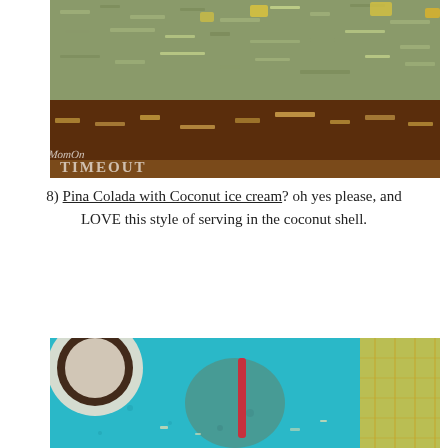[Figure (photo): Close-up of a baked loaf with coconut and pineapple topping on a wooden cutting board, with a watermark reading 'MomOnTimeout' in the lower left corner.]
8) Pina Colada with Coconut ice cream? oh yes please, and LOVE this style of serving in the coconut shell.
[Figure (photo): Top-down view of a pina colada drink served in a coconut shell with a pink straw, on a turquoise surface with a halved pineapple visible in the upper right.]